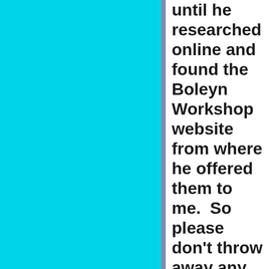until he researched online and found the Boleyn Workshop website from where he offered them to me.  So please don't throw away any Coronet paperwork no matter how insignificant, stick it in an envelope and email me for